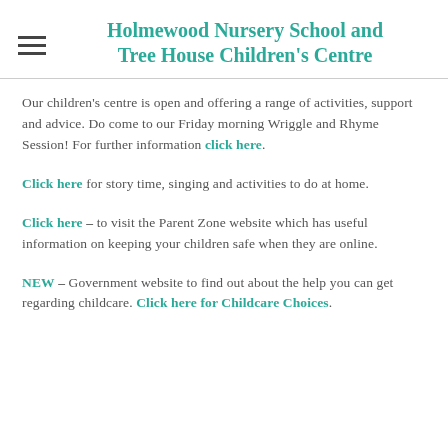Holmewood Nursery School and Tree House Children's Centre
Our children's centre is open and offering a range of activities, support and advice. Do come to our Friday morning Wriggle and Rhyme Session! For further information click here.
Click here for story time, singing and activities to do at home.
Click here - to visit the Parent Zone website which has useful information on keeping your children safe when they are online.
NEW - Government website to find out about the help you can get regarding childcare. Click here for Childcare Choices.